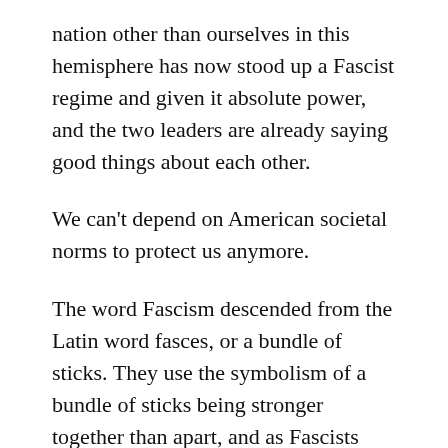nation other than ourselves in this hemisphere has now stood up a Fascist regime and given it absolute power, and the two leaders are already saying good things about each other.
We can't depend on American societal norms to protect us anymore.
The word Fascism descended from the Latin word fasces, or a bundle of sticks. They use the symbolism of a bundle of sticks being stronger together than apart, and as Fascists pull together so do Fascist nations.
Fascists in the US, where they still pretend to be oppressed, will be emboldened by every